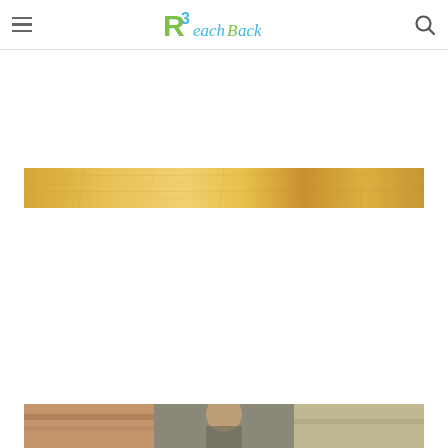R3ReachBack logo with hamburger menu and search icon
[Figure (photo): A horizontal golden/yellow textured banner image, roughly centered on the page]
[Figure (photo): A partial photograph at the bottom of the page showing people]